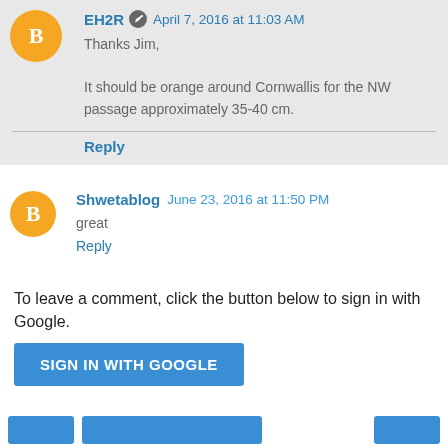EH2R  April 7, 2016 at 11:03 AM
Thanks Jim,

It should be orange around Cornwallis for the NW passage approximately 35-40 cm.
Reply
Shwetablog  June 23, 2016 at 11:50 PM
great
Reply
To leave a comment, click the button below to sign in with Google.
SIGN IN WITH GOOGLE